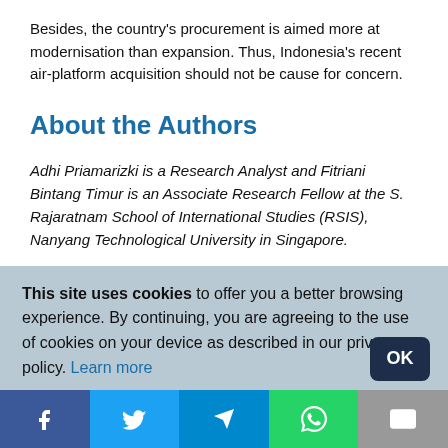Besides, the country's procurement is aimed more at modernisation than expansion. Thus, Indonesia's recent air-platform acquisition should not be cause for concern.
About the Authors
Adhi Priamarizki is a Research Analyst and Fitriani Bintang Timur is an Associate Research Fellow at the S. Rajaratnam School of International Studies (RSIS), Nanyang Technological University in Singapore.
This site uses cookies to offer you a better browsing experience. By continuing, you are agreeing to the use of cookies on your device as described in our privacy policy. Learn more
[Figure (infographic): Social media share buttons bar: Facebook (blue), Twitter (light blue), Telegram (dark blue), WhatsApp (green), Email (gray)]